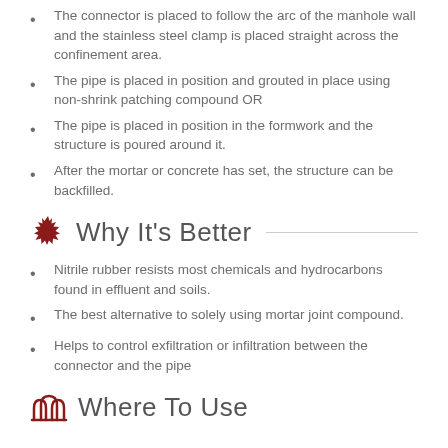The connector is placed to follow the arc of the manhole wall and the stainless steel clamp is placed straight across the confinement area.
The pipe is placed in position and grouted in place using non-shrink patching compound OR
The pipe is placed in position in the formwork and the structure is poured around it.
After the mortar or concrete has set, the structure can be backfilled.
Why It's Better
Nitrile rubber resists most chemicals and hydrocarbons found in effluent and soils.
The best alternative to solely using mortar joint compound.
Helps to control exfiltration or infiltration between the connector and the pipe
Where To Use